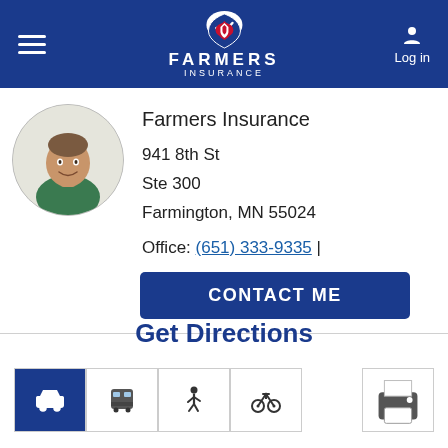[Figure (logo): Farmers Insurance logo with shield emblem, white text on dark blue header background]
Farmers Insurance
941 8th St
Ste 300
Farmington, MN 55024
Office: (651) 333-9335 |
CONTACT ME
Get Directions
[Figure (infographic): Transportation mode icons: car (active/selected, blue background), bus, walking person, bicycle. Print icon on right.]